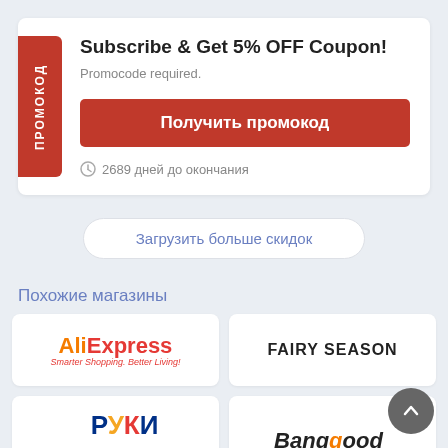ПРОМОКОД
Subscribe & Get 5% OFF Coupon!
Promocode required.
Получить промокод
2689 дней до окончания
Загрузить больше скидок
Похожие магазины
[Figure (logo): AliExpress logo — orange 'Ali' and red 'Express' with tagline 'Smarter Shopping. Better Living!']
[Figure (logo): FAIRY SEASON logo in bold black text]
[Figure (logo): RU store logo in blue, yellow, red colors (partial)]
[Figure (logo): Banggood logo in bold italic black text (partial)]